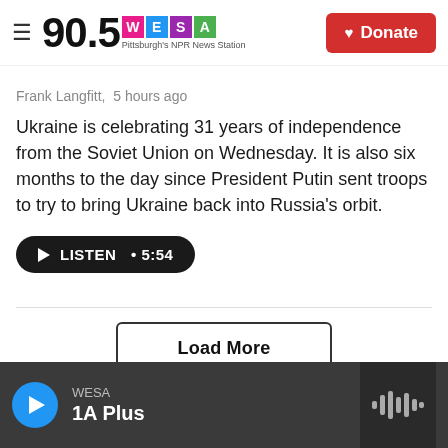90.5 WESA Pittsburgh's NPR News Station | Donate
Frank Langfitt,  5 hours ago
Ukraine is celebrating 31 years of independence from the Soviet Union on Wednesday. It is also six months to the day since President Putin sent troops to try to bring Ukraine back into Russia's orbit.
LISTEN • 5:54
Load More
WESA
1A Plus